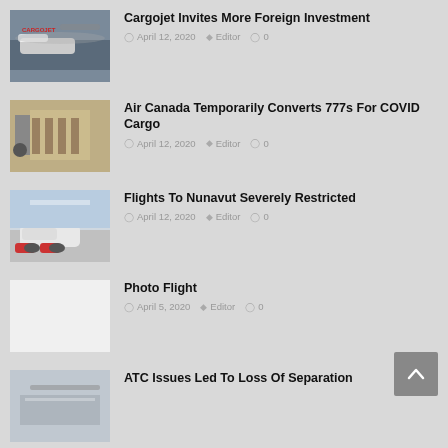[Figure (photo): Cargojet airplane on tarmac]
Cargojet Invites More Foreign Investment
April 12, 2020  Editor  0
[Figure (photo): Workers loading cargo into aircraft]
Air Canada Temporarily Converts 777s For COVID Cargo
April 12, 2020  Editor  0
[Figure (photo): Aircraft in snowy conditions]
Flights To Nunavut Severely Restricted
April 12, 2020  Editor  0
[Figure (photo): Blank/white placeholder image]
Photo Flight
April 5, 2020  Editor  0
[Figure (photo): Partial article thumbnail]
ATC Issues Led To Loss Of Separation